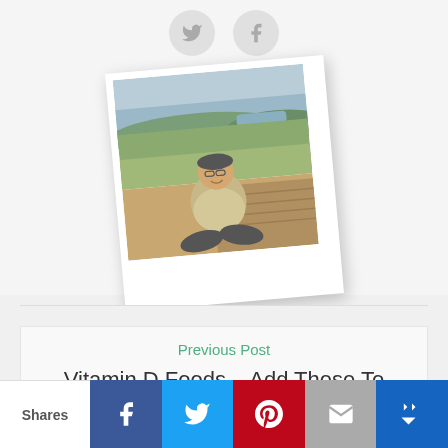[Figure (photo): Social share icons (Twitter bird and Facebook f) in grey circles at the top]
[Figure (photo): Polaroid-style rotated photo of a man sitting cross-legged on a wooden deck with a scenic landscape background (trees, fields, water)]
Previous Post
Vitamin D Foods – Add These To
Shares